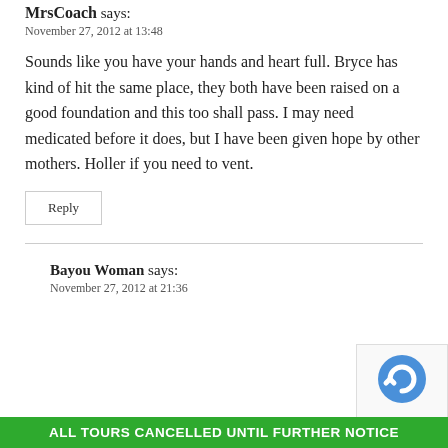MrsCoach says:
November 27, 2012 at 13:48
Sounds like you have your hands and heart full. Bryce has kind of hit the same place, they both have been raised on a good foundation and this too shall pass. I may need medicated before it does, but I have been given hope by other mothers. Holler if you need to vent.
Reply
Bayou Woman says:
November 27, 2012 at 21:36
ALL TOURS CANCELLED UNTIL FURTHER NOTICE